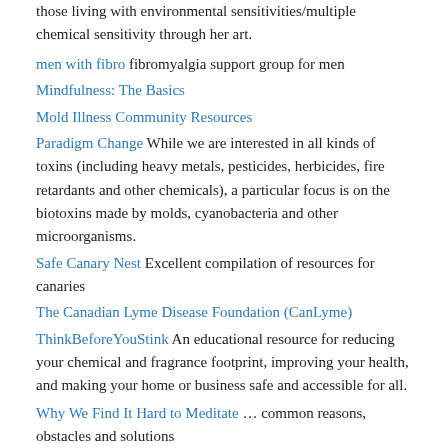those living with environmental sensitivities/multiple chemical sensitivity through her art.
men with fibro fibromyalgia support group for men
Mindfulness: The Basics
Mold Illness Community Resources
Paradigm Change While we are interested in all kinds of toxins (including heavy metals, pesticides, herbicides, fire retardants and other chemicals), a particular focus is on the biotoxins made by molds, cyanobacteria and other microorganisms.
Safe Canary Nest Excellent compilation of resources for canaries
The Canadian Lyme Disease Foundation (CanLyme)
ThinkBeforeYouStink An educational resource for reducing your chemical and fragrance footprint, improving your health, and making your home or business safe and accessible for all.
Why We Find It Hard to Meditate … common reasons, obstacles and solutions
Mixed Media
"Stink!" an award-winning documentary – the movie the chemical